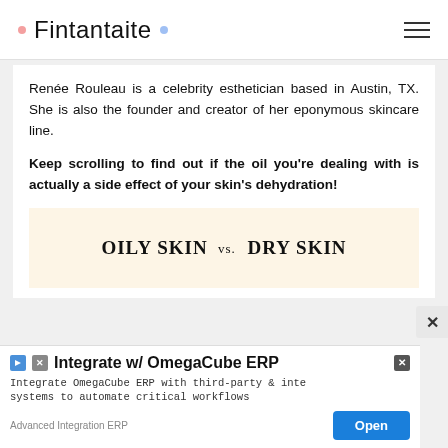Fintantaite
Renée Rouleau is a celebrity esthetician based in Austin, TX. She is also the founder and creator of her eponymous skincare line.
Keep scrolling to find out if the oil you're dealing with is actually a side effect of your skin's dehydration!
[Figure (infographic): Infographic image with text: OILY SKIN vs. DRY SKIN on a cream/beige background]
[Figure (screenshot): Advertisement banner: Integrate w/ OmegaCube ERP. Integrate OmegaCube ERP with third-party & internal systems to automate critical workflows. Advanced Integration ERP. Open button.]